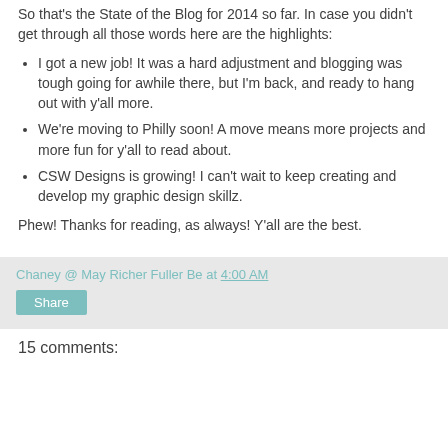So that's the State of the Blog for 2014 so far. In case you didn't get through all those words here are the highlights:
I got a new job! It was a hard adjustment and blogging was tough going for awhile there, but I'm back, and ready to hang out with y'all more.
We're moving to Philly soon! A move means more projects and more fun for y'all to read about.
CSW Designs is growing! I can't wait to keep creating and develop my graphic design skillz.
Phew! Thanks for reading, as always! Y'all are the best.
Chaney @ May Richer Fuller Be at 4:00 AM Share
15 comments: